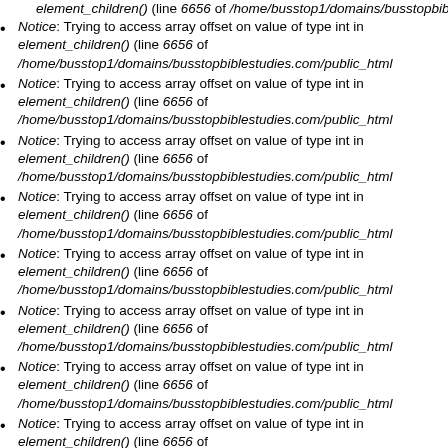element_children() (line 6656 of /home/busstop1/domains/busstopbiblestudies.com/public_html...
Notice: Trying to access array offset on value of type int in element_children() (line 6656 of /home/busstop1/domains/busstopbiblestudies.com/public_html...
Notice: Trying to access array offset on value of type int in element_children() (line 6656 of /home/busstop1/domains/busstopbiblestudies.com/public_html...
Notice: Trying to access array offset on value of type int in element_children() (line 6656 of /home/busstop1/domains/busstopbiblestudies.com/public_html...
Notice: Trying to access array offset on value of type int in element_children() (line 6656 of /home/busstop1/domains/busstopbiblestudies.com/public_html...
Notice: Trying to access array offset on value of type int in element_children() (line 6656 of /home/busstop1/domains/busstopbiblestudies.com/public_html...
Notice: Trying to access array offset on value of type int in element_children() (line 6656 of /home/busstop1/domains/busstopbiblestudies.com/public_html...
Notice: Trying to access array offset on value of type int in element_children() (line 6656 of /home/busstop1/domains/busstopbiblestudies.com/public_html...
Notice: Trying to access array offset on value of type int in element_children() (line 6656 of /home/busstop1/domains/busstopbiblestudies.com/public_html...